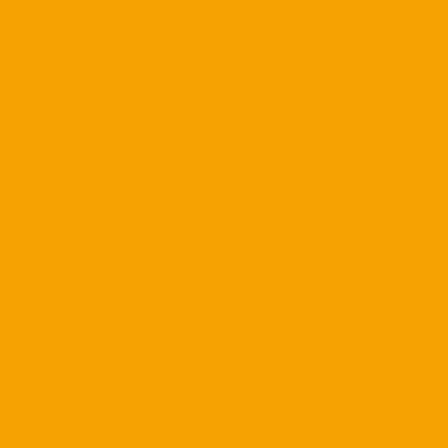everything -- I actually would... got to Baltimore.
“God don’t make no mistakes championship for the school, accountability starts in the lo... us. They didn’t have to, but t... Reg said. You have to be coa... just because you go to Miam... They hate you. They don’t lik... was a national-championship...
But the issue is bigger than th... let down your teammate.
“We did everything together,” went together. It didn’t matter when you get out there in be... Reed down. He played on de... and if I did something wrong, corrected me. Like a lot of gu... together. We took coaching. corrected us on something. W... and we went out there to get...